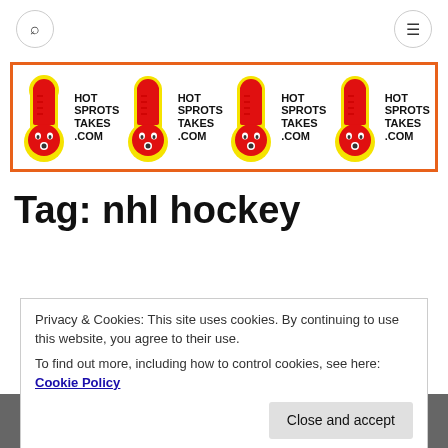search icon | menu icon
[Figure (logo): Hot Sprots Takes .com logo repeated four times — red thermometer character with yellow outline and bold black text, inside an orange-bordered banner]
Tag: nhl hockey
Privacy & Cookies: This site uses cookies. By continuing to use this website, you agree to their use.
To find out more, including how to control cookies, see here: Cookie Policy
[Figure (photo): Partial bottom image strip, appears to be a sports-related photo, cropped]